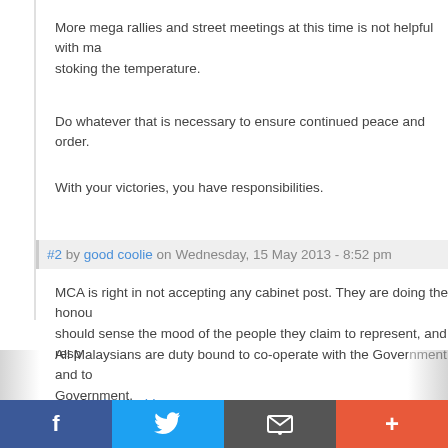More mega rallies and street meetings at this time is not helpful with man... stoking the temperature.
Do whatever that is necessary to ensure continued peace and order.
With your victories, you have responsibilities.
#2 by good coolie on Wednesday, 15 May 2013 - 8:52 pm
MCA is right in not accepting any cabinet post. They are doing the honour... should sense the mood of the people they claim to represent, and resp...
All Malaysians are duty bound to co-operate with the Government and to... Government.
You must be logged in to post a comment.